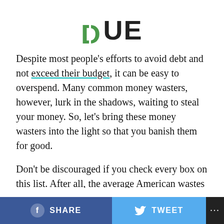[Figure (logo): DUE logo with stylized D in green (bitcoin-style D symbol) followed by UE in black bold sans-serif]
Despite most people's efforts to avoid debt and not exceed their budget, it can be easy to overspend. Many common money wasters, however, lurk in the shadows, waiting to steal your money. So, let's bring these money wasters into the light so that you banish them for good.
Don't be discouraged if you check every box on this list. After all, the average American wastes approximately $18,000 per year. In one sense, it's an opportunity to take
f SHARE   🐦 TWEET   ...